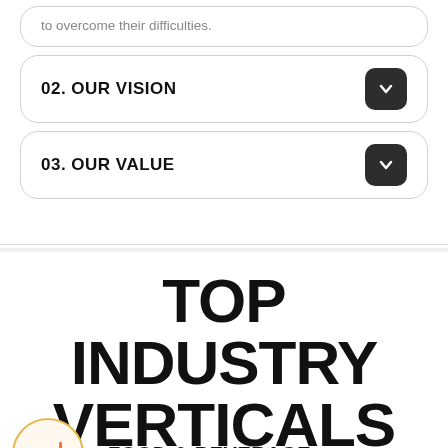to overcome their difficulties.
02. OUR VISION
03. OUR VALUE
TOP INDUSTRY VERTICALS
FOOD & BEVERAGE